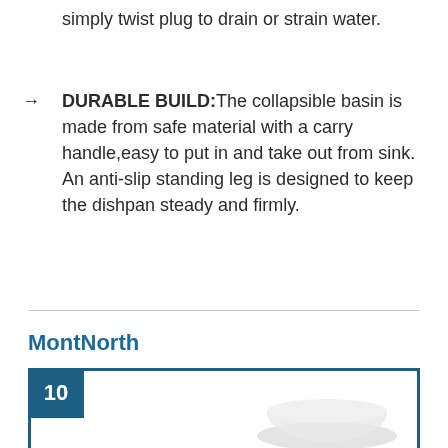simply twist plug to drain or strain water.
DURABLE BUILD:The collapsible basin is made from safe material with a carry handle,easy to put in and take out from sink. An anti-slip standing leg is designed to keep the dishpan steady and firmly.
MontNorth
[Figure (other): Product card with rank badge showing '10' and a partial product image of a collapsible basin at the bottom]